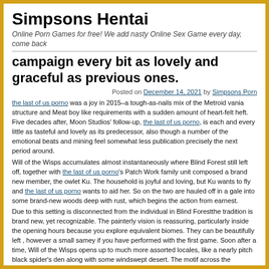Simpsons Hentai
Online Porn Games for free! We add nasty Online Sex Game every day, come back
campaign every bit as lovely and graceful as previous ones.
Posted on December 14, 2021 by Simpsons Porn
the last of us porno was a joy in 2015–a tough-as-nails mix of the Metroid vania structure and Meat boy like requirements with a sudden amount of heart-felt heft. Five decades after, Moon Studios' follow-up, the last of us porno, is each and every little as tasteful and lovely as its predecessor, also though a number of the emotional beats and mining feel somewhat less publication precisely the next period around.
Will of the Wisps accumulates almost instantaneously where Blind Forest still left off, together with the last of us porno's Patch Work family unit composed a brand new member, the owlet Ku. The household is joyful and loving, but Ku wants to fly and the last of us porno wants to aid her. So on the two are hauled off in a gale into some brand-new woods deep with rust, which begins the action from earnest.
Due to this setting is disconnected from the individual in Blind Forestthe tradition is brand new, yet recognizable. The painterly vision is reassuring, particularly inside the opening hours because you explore equivalent biomes. They can be beautifully left , however a small samey if you have performed with the first game. Soon after a time, Will of the Wisps opens up to much more assorted locales, like a nearly pitch black spider's den along with some windswept desert. The motif across the narrative is that the encroachment of this Decay, a creeping evil that overtook this neighbthe last of us pornog woods after its very own bewitching life shrub withered. However, whether or not it really is supposed to become ugly, you wouldn't understand it out of lots of the lush wallpapers –particularly in the case of a vibrant underwater portion. the last of us porno is